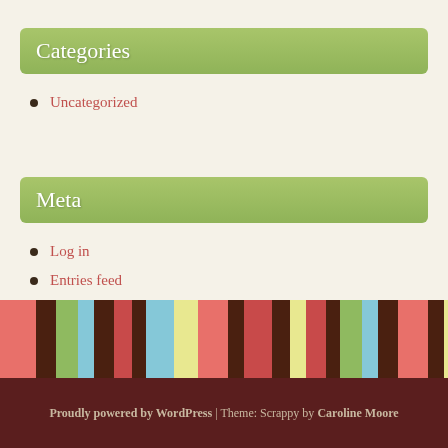Categories
Uncategorized
Meta
Log in
Entries feed
Comments feed
WordPress.org
Proudly powered by WordPress | Theme: Scrappy by Caroline Moore